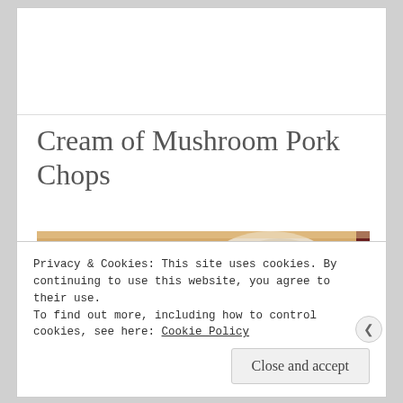Cream of Mushroom Pork Chops
[Figure (photo): Close-up photo of cream of mushroom pork chops on a plate, showing pork pieces covered in a brown mushroom cream sauce with mashed potatoes visible]
Privacy & Cookies: This site uses cookies. By continuing to use this website, you agree to their use.
To find out more, including how to control cookies, see here: Cookie Policy
Close and accept